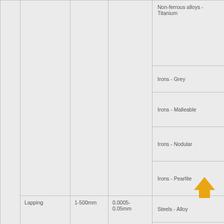|  |  | Size Range | Tolerance | Materials |
| --- | --- | --- | --- | --- |
|  |  |  |  | Non-ferrous alloys - Titanium |
|  |  |  |  | Irons - Grey |
|  |  |  |  | Irons - Malleable |
|  |  |  |  | Irons - Nodular |
|  |  |  |  | Irons - Pearlite |
|  | Lapping | 1-500mm | 0.0005-0.05mm | Steels - Alloy |
|  |  |  |  | Steels - Cast |
|  |  |  |  | Steels - Free cutting |
|  |  |  |  | Steels - High Carbon |
|  |  |  |  | Steels - Medium Carbon |
|  |  |  |  | Steels - Mild |